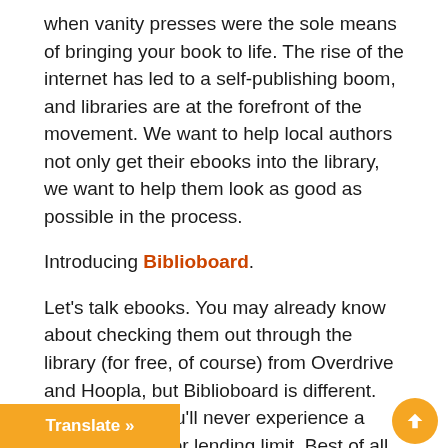when vanity presses were the sole means of bringing your book to life. The rise of the internet has led to a self-publishing boom, and libraries are at the forefront of the movement. We want to help local authors not only get their ebooks into the library, we want to help them look as good as possible in the process.
Introducing Biblioboard.
Let's talk ebooks. You may already know about checking them out through the library (for free, of course) from Overdrive and Hoopla, but Biblioboard is different. Like Hoopla, you'll never experience a hold, checkout or lending limit. Best of all, you can read public domain titles, top indie eBooks, local self-published authors, and so much more. You can even download the BiblioBoard Library app for your Apple, le device now, or visit